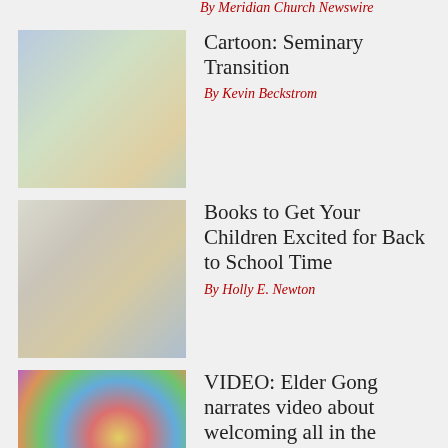By Meridian Church Newswire
Cartoon: Seminary Transition
By Kevin Beckstrom
[Figure (photo): Thumbnail image for Cartoon: Seminary Transition article]
Books to Get Your Children Excited for Back to School Time
By Holly E. Newton
[Figure (photo): Thumbnail image for Books to Get Your Children Excited for Back to School Time article]
VIDEO: Elder Gong narrates video about welcoming all in the Savior's Inn
By Church News
[Figure (photo): Colorful circular stained-glass style thumbnail for VIDEO: Elder Gong article]
Know Anyone Who Just Moved?
By Joni Hilton